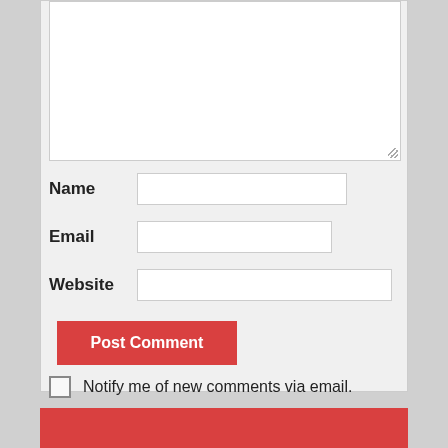[Figure (screenshot): Text area input box (empty, white, resizable) at top of comment form]
Name
Email
Website
Post Comment
Notify me of new comments via email.
Notify me of new posts via email.